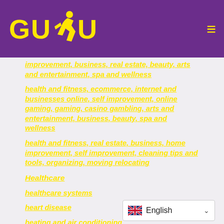[Figure (logo): GUDU logo with yellow bold italic text and a running figure silhouette on purple background]
improvement, business, real estate, beauty, arts and entertainment, spa and wellness
health and fitness, ecommerce, internet and businesses online, self improvement, online gaming, gaming, casino gambling, arts and entertainment, business, beauty, spa and wellness
health and fitness, real estate, business, home improvement, self improvement, cleaning tips and tools, organizing, moving relocating
Healthcare
healthcare systems
heart disease
heating and air conditioning
heavy industry
[Figure (other): Language selector widget showing UK flag and English text with dropdown arrow]